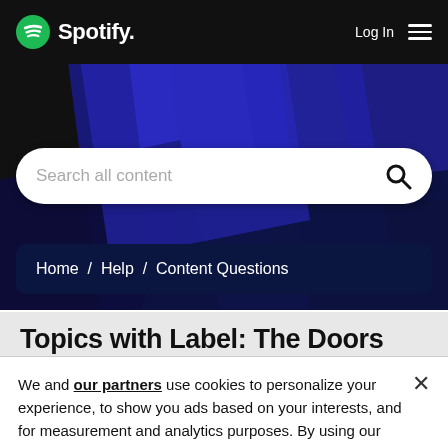Spotify — Log In
[Figure (screenshot): Spotify header with logo on left, Log In and hamburger menu on right, over black background]
[Figure (screenshot): Blue geometric diagonal shapes forming hero background]
Search all content
Home / Help / Content Questions
Topics with Label: The Doors
We and our partners use cookies to personalize your experience, to show you ads based on your interests, and for measurement and analytics purposes. By using our website and services, you agree to our use of cookies as described in our Cookie Policy.